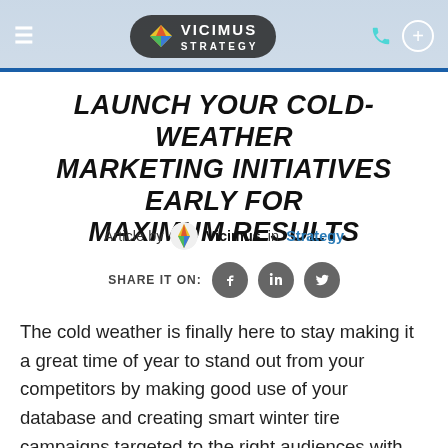[Figure (screenshot): Website navigation bar with hamburger menu, Vicimus Strategy logo pill, phone icon and plus button]
LAUNCH YOUR COLD-WEATHER MARKETING INITIATIVES EARLY FOR MAXIMUM RESULTS
Article by Vicimus in Strategy
SHARE IT ON:
The cold weather is finally here to stay making it a great time of year to stand out from your competitors by making good use of your database and creating smart winter tire campaigns targeted to the right audiences with the right messages.